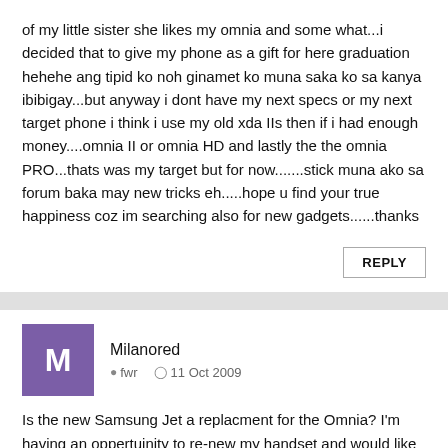of my little sister she likes my omnia and some what...i decided that to give my phone as a gift for here graduation hehehe ang tipid ko noh ginamet ko muna saka ko sa kanya ibibigay...but anyway i dont have my next specs or my next target phone i think i use my old xda IIs then if i had enough money....omnia II or omnia HD and lastly the the omnia PRO...thats was my target but for now.......stick muna ako sa forum baka may new tricks eh.....hope u find your true happiness coz im searching also for new gadgets......thanks
REPLY
Milanored  fwr  11 Oct 2009
Is the new Samsung Jet a replacment for the Omnia? I'm having an oppertuinity to re-new my handset and would like to update to the latest.
REPLY